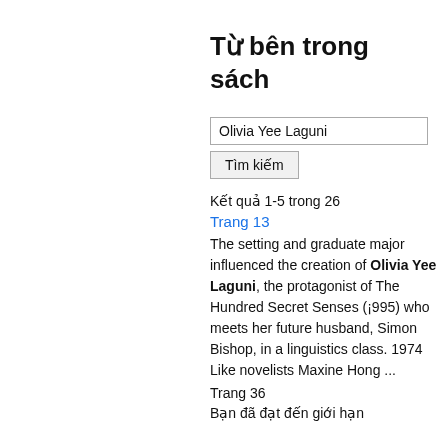Từ bên trong sách
Olivia Yee Laguni
Tìm kiếm
Kết quả 1-5 trong 26
Trang 13
The setting and graduate major influenced the creation of Olivia Yee Laguni, the protagonist of The Hundred Secret Senses (¡995) who meets her future husband, Simon Bishop, in a linguistics class. 1974 Like novelists Maxine Hong ...
Trang 36
Bạn đã đạt đến giới hạn